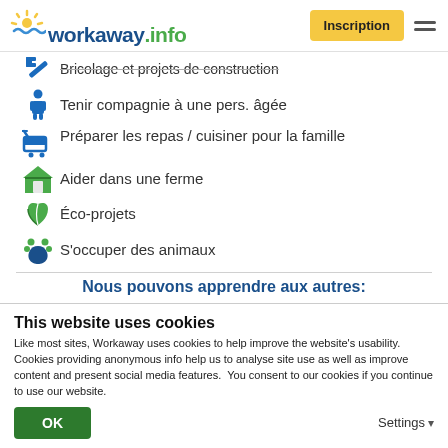workaway.info — Inscription
Bricolage et projets de construction
Tenir compagnie à une pers. âgée
Préparer les repas / cuisiner pour la famille
Aider dans une ferme
Éco-projets
S'occuper des animaux
Nous pouvons apprendre aux autres:
This website uses cookies
Like most sites, Workaway uses cookies to help improve the website's usability. Cookies providing anonymous info help us to analyse site use as well as improve content and present social media features.  You consent to our cookies if you continue to use our website.
OK
Settings